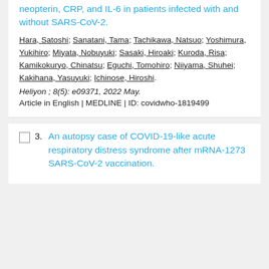neopterin, CRP, and IL-6 in patients infected with and without SARS-CoV-2.
Hara, Satoshi; Sanatani, Tama; Tachikawa, Natsuo; Yoshimura, Yukihiro; Miyata, Nobuyuki; Sasaki, Hiroaki; Kuroda, Risa; Kamikokuryo, Chinatsu; Eguchi, Tomohiro; Niiyama, Shuhei; Kakihana, Yasuyuki; Ichinose, Hiroshi.
Heliyon ; 8(5): e09371, 2022 May.
Article in English | MEDLINE | ID: covidwho-1819499
3. An autopsy case of COVID-19-like acute respiratory distress syndrome after mRNA-1273 SARS-CoV-2 vaccination.